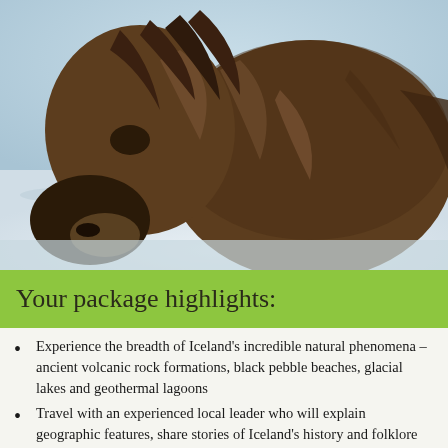[Figure (photo): Close-up photo of a shaggy Icelandic horse with thick brown fur, facing left, standing in a snowy field with a wintry landscape in the background.]
Your package highlights:
Experience the breadth of Iceland's incredible natural phenomena – ancient volcanic rock formations, black pebble beaches, glacial lakes and geothermal lagoons
Travel with an experienced local leader who will explain geographic features, share stories of Iceland's history and folklore and narrate your nightly